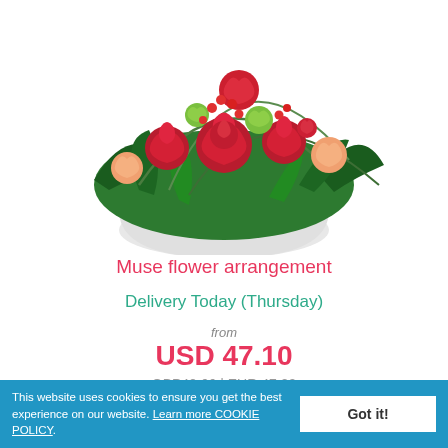[Figure (photo): A floral arrangement in a white round vase featuring red roses, peach roses, red berries, green alstroemeria flowers, and lush green foliage.]
Muse flower arrangement
Delivery Today (Thursday)
from
USD 47.10
GBP40.66 | EUR 47.00
This website uses cookies to ensure you get the best experience on our website. Learn more COOKIE POLICY.